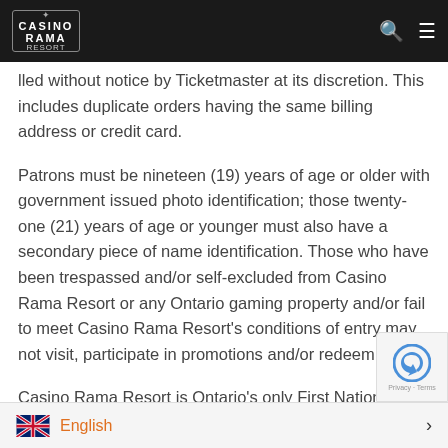Casino Rama [logo] — navigation header with search and menu icons
lled without notice by Ticketmaster at its discretion. This includes duplicate orders having the same billing address or credit card.
Patrons must be nineteen (19) years of age or older with government issued photo identification; those twenty-one (21) years of age or younger must also have a secondary piece of name identification. Those who have been trespassed and/or self-excluded from Casino Rama Resort or any Ontario gaming property and/or fail to meet Casino Rama Resort's conditions of entry may not visit, participate in promotions and/or redeem offers.
Casino Rama Resort is Ontario's only First Nations resort casino and has earned a reputation for presenting exclusive world-class
English > Privacy · Terms